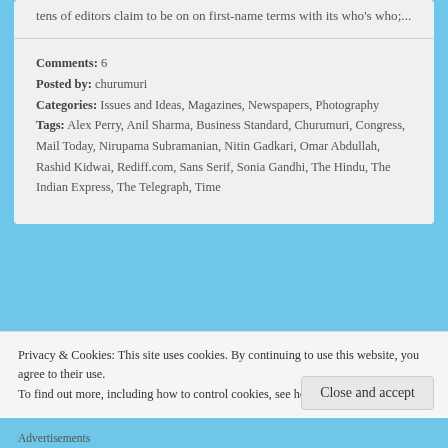tens of editors claim to be on on first-name terms with its who's who;...
Comments: 6
Posted by: churumuri
Categories: Issues and Ideas, Magazines, Newspapers, Photography
Tags: Alex Perry, Anil Sharma, Business Standard, Churumuri, Congress, Mail Today, Nirupama Subramanian, Nitin Gadkari, Omar Abdullah, Rashid Kidwai, Rediff.com, Sans Serif, Sonia Gandhi, The Hindu, The Indian Express, The Telegraph, Time
Privacy & Cookies: This site uses cookies. By continuing to use this website, you agree to their use.
To find out more, including how to control cookies, see here: Cookie Policy
Close and accept
Advertisements